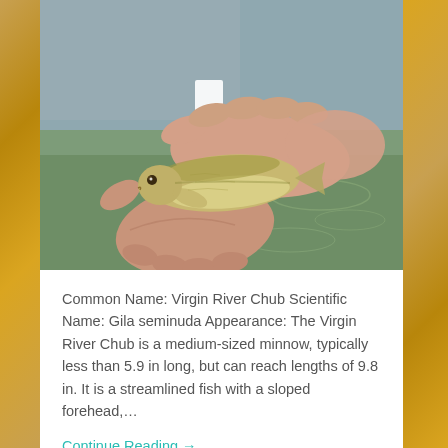[Figure (photo): Close-up photograph of hands holding a small fish (Virgin River Chub / Gila seminuda) over murky greenish-brown water. The fish is a small minnow with golden-olive coloring, held palm-up by a person's bare hands.]
Common Name: Virgin River Chub Scientific Name: Gila seminuda Appearance: The Virgin River Chub is a medium-sized minnow, typically less than 5.9 in long, but can reach lengths of 9.8 in. It is a streamlined fish with a sloped forehead,…
Continue Reading →